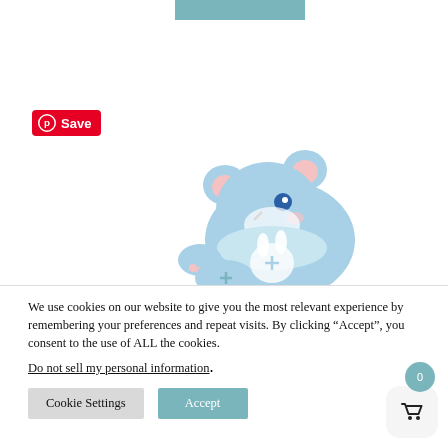[Figure (illustration): A teal/blue horizontal banner bar at top center of page]
[Figure (illustration): Pinterest 'Save' button badge with red background and Pinterest logo]
[Figure (illustration): Cute cartoon blue bear/mouse character wearing a light blue outfit, lying down, illustrated in a kawaii style]
We use cookies on our website to give you the most relevant experience by remembering your preferences and repeat visits. By clicking “Accept”, you consent to the use of ALL the cookies.
Do not sell my personal information.
[Figure (infographic): Cookie Settings and Accept buttons, plus a shopping cart widget with teal badge showing 0]